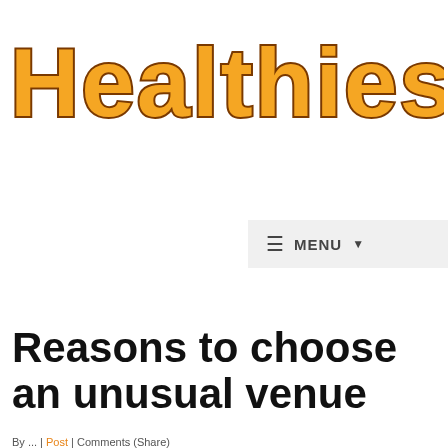[Figure (logo): Healthiest Life website logo with bold orange text and dark brown outline]
≡ MENU ▾
Reasons to choose an unusual venue
By ... | ... (Share)